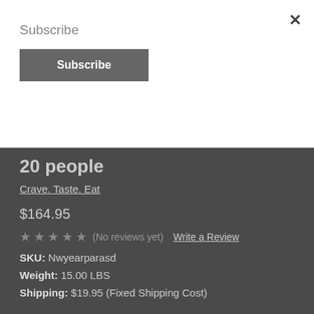Subscribe
Subscribe (button)
20 people
Crave. Taste. Eat
$164.95
★★★★★ (No reviews yet) Write a Review
SKU: Nwyearparasd
Weight: 15.00 LBS
Shipping: $19.95 (Fixed Shipping Cost)